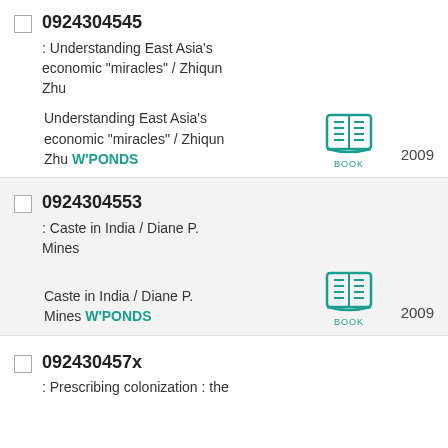0924304545 : Understanding East Asia's economic "miracles" / Zhiqun Zhu
Understanding East Asia's economic "miracles" / Zhiqun Zhu W'PONDS 2009 BOOK
0924304553 : Caste in India / Diane P. Mines
Caste in India / Diane P. Mines W'PONDS 2009 BOOK
092430457x : Prescribing colonization : the